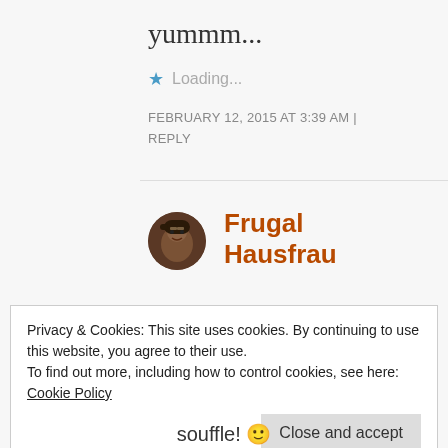yummm...
Loading...
FEBRUARY 12, 2015 AT 3:39 AM | REPLY
Frugal Hausfrau
Privacy & Cookies: This site uses cookies. By continuing to use this website, you agree to their use.
To find out more, including how to control cookies, see here:
Cookie Policy
Close and accept
souffle! 🙂